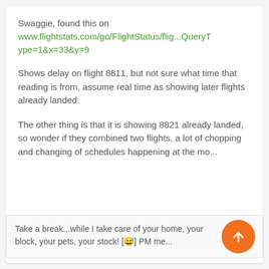Swaggie, found this on www.flightstats.com/go/FlightStatus/flig...QueryType=1&x=33&y=9
Shows delay on flight 8811, but not sure what time that reading is from, assume real time as showing later flights already landed.
The other thing is that it is showing 8821 already landed, so wonder if they combined two flights, a lot of chopping and changing of schedules happening at the mo...
Take a break...while I take care of your home, your block, your pets, your stock! [😅] PM me...